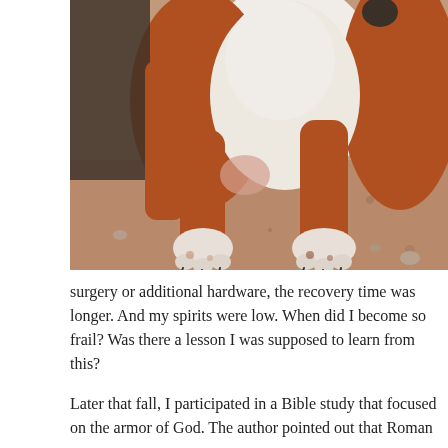[Figure (photo): Close-up photograph of a dog's paws and lower body resting on a sandy/dirt surface. The dog appears to be a beagle or hound breed with brown and white coloring. The dog's front paws with dark nails are visible resting on the ground.]
surgery or additional hardware, the recovery time was longer. And my spirits were low. When did I become so frail? Was there a lesson I was supposed to learn from this?
Later that fall, I participated in a Bible study that focused on the armor of God. The author pointed out that Roman